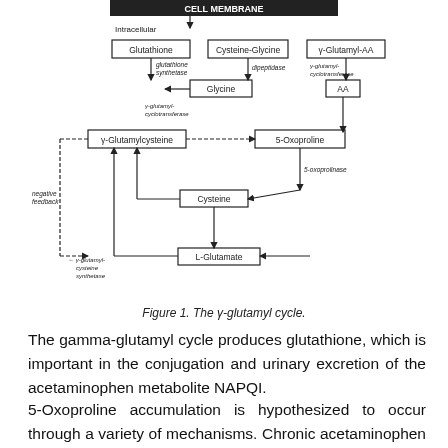[Figure (flowchart): Diagram of the gamma-glutamyl cycle showing biochemical pathway with CELL MEMBRANE header, compounds including Glutathione, Cysteine-Glycine, gamma-Glutamyl-AA, Glycine, AA, 5-Oxoproline, gamma-Glutamylcysteine, Cysteine, L-Glutamate, with enzymes glutathione synthetase, dipeptidase, gamma-glutamyl-cyclotransferase, 5-oxoprolinase, gamma-glutamyl-cysteine synthetase, and a negative feedback dashed arrow.]
Figure 1. The γ-glutamyl cycle.
The gamma-glutamyl cycle produces glutathione, which is important in the conjugation and urinary excretion of the acetaminophen metabolite NAPQI.
5-Oxoproline accumulation is hypothesized to occur through a variety of mechanisms. Chronic acetaminophen ingestion may lead to a depletion of intracellular glutathione stores. This leads to